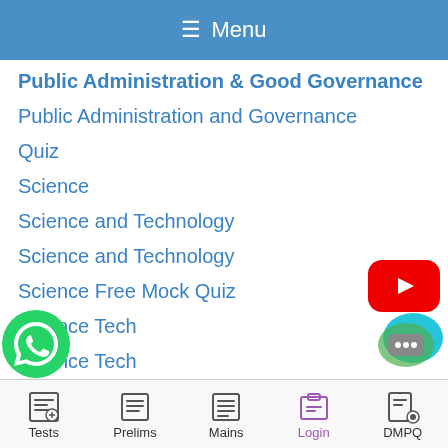≡ Menu
Public Administration & Good Governance
Public Administration and Governance
Quiz
Science
Science and Technology
Science and Technology
Science Free Mock Quiz
Science Tech
Science Tech
Science Tech Updated
curity
n 2017
[Figure (logo): YouTube play button logo (red rounded rectangle with white triangle)]
[Figure (logo): WhatsApp logo (green circle with white phone icon)]
[Figure (logo): Chat bubble logo (teal/green speech bubble with ellipsis)]
Tests  Prelims  Mains  Login  DMPQ